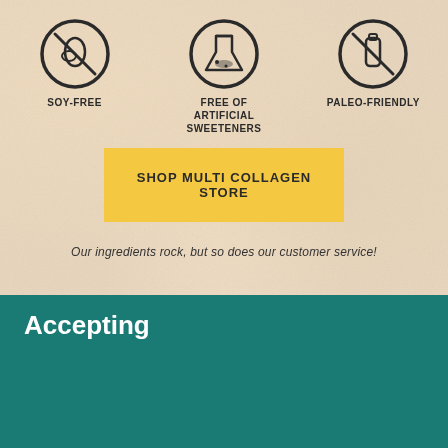[Figure (infographic): Three circular icons on textured beige/powder background. Left: soy-free icon (crossed-out soybean). Center: free of artificial sweeteners (flask/beaker icon). Right: paleo-friendly (crossed-out bottle).]
SHOP MULTI COLLAGEN STORE
Our ingredients rock, but so does our customer service!
Accepting
[Figure (infographic): Payment method icons: Visa, Mastercard, American Express cards shown at bottom of teal section. Chat bubble button (white circle) and scroll-to-top button (gold circle with chevron) overlaid.]